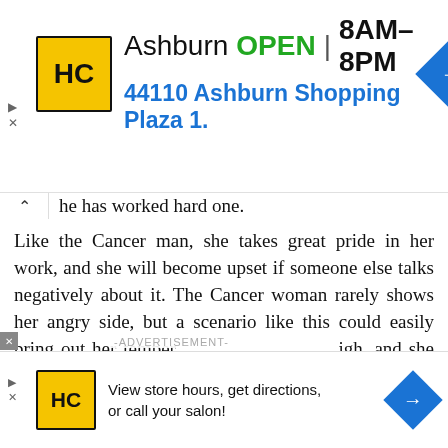[Figure (screenshot): Haircuts salon advertisement banner showing HC logo, Ashburn location, OPEN 8AM-8PM, address 44110 Ashburn Shopping Plaza 1., and navigation arrow icon]
he has worked hard one.
Like the Cancer man, she takes great pride in her work, and she will become upset if someone else talks negatively about it. The Cancer woman rarely shows her angry side, but a scenario like this could easily bring out her temper. [obscured] igh, and she will keep her thoughts to herself.
[Figure (screenshot): Video player thumbnail showing circle icon and gold dot on black background with title: How To Open 7 Chakras - Meditation and Healing - SunSigns.Org]
[Figure (screenshot): Bottom advertisement banner: HC salon logo, text 'View store hours, get directions, or call your salon!' and navigation arrow icon]